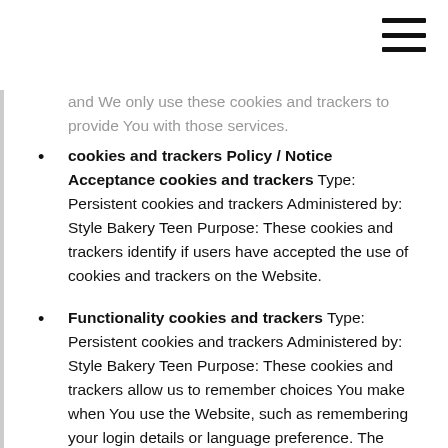[Figure (other): Hamburger menu icon (three horizontal lines) in top right corner]
and We only use these cookies and trackers to provide You with those services.
cookies and trackers Policy / Notice Acceptance cookies and trackers Type: Persistent cookies and trackers Administered by: Style Bakery Teen Purpose: These cookies and trackers identify if users have accepted the use of cookies and trackers on the Website.
Functionality cookies and trackers Type: Persistent cookies and trackers Administered by: Style Bakery Teen Purpose: These cookies and trackers allow us to remember choices You make when You use the Website, such as remembering your login details or language preference. The purpose of these cookies and trackers is to provide You with a more personal experience and to avoid You having to re-enter